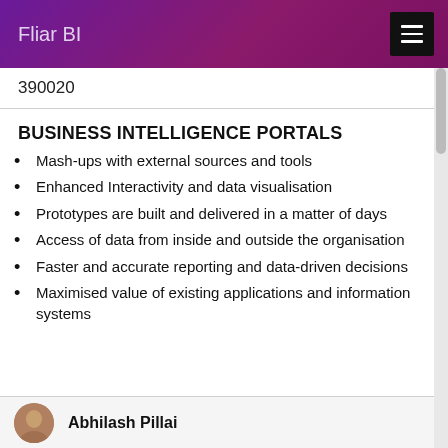Fliar BI
390020
BUSINESS INTELLIGENCE PORTALS
Mash-ups with external sources and tools
Enhanced Interactivity and data visualisation
Prototypes are built and delivered in a matter of days
Access of data from inside and outside the organisation
Faster and accurate reporting and data-driven decisions
Maximised value of existing applications and information systems
Abhilash Pillai